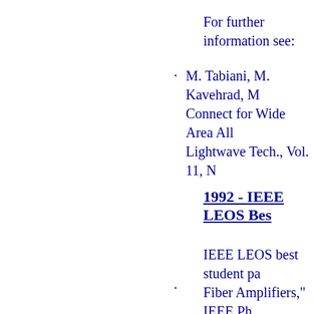For further information see:
M. Tabiani, M. Kavehrad, ... Connect for Wide Area All... Lightwave Tech., Vol. 11, N...
1992 - IEEE LEOS Bes...
IEEE LEOS best student pa... Fiber Amplifiers," IEEE Ph... authored by C. Barnard, J. C... Ph.D. degree under supervi... dissertation entitled: "Prope... Amplifiers and Lasers".
1992 - Fully Transpare...
Is one of the first attempts to... topology. Idea was impleme...
M. I. Irshid, M. Kayehr...